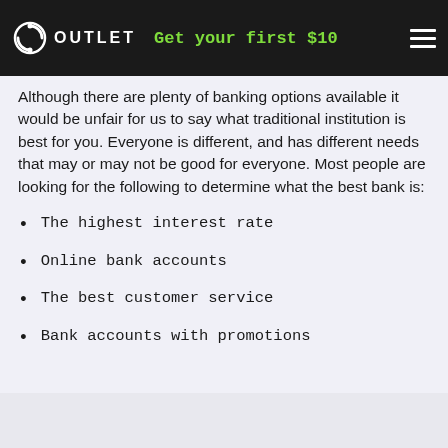OUTLET — Get your first $10
Although there are plenty of banking options available it would be unfair for us to say what traditional institution is best for you. Everyone is different, and has different needs that may or may not be good for everyone. Most people are looking for the following to determine what the best bank is:
The highest interest rate
Online bank accounts
The best customer service
Bank accounts with promotions